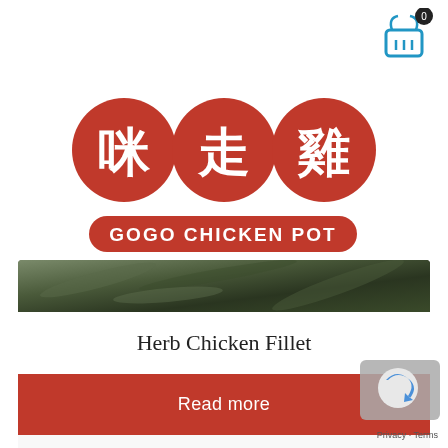[Figure (logo): Shopping cart icon with badge showing 0, top right corner]
[Figure (logo): GoGo Chicken Pot logo: three red circles with Chinese characters 咪走雞 and red oval banner reading GOGO CHICKEN POT]
[Figure (photo): Herb Chicken Fillet product image - dark green/brown herbs and chicken]
Herb Chicken Fillet
Read more
[Figure (logo): reCAPTCHA badge bottom right]
Privacy · Terms